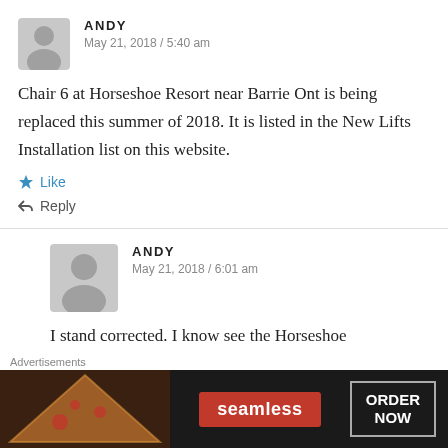ANDY — May 21, 2018 / 5:40 am
Chair 6 at Horseshoe Resort near Barrie Ont is being replaced this summer of 2018. It is listed in the New Lifts Installation list on this website.
★ Like
↩ Reply
ANDY — May 21, 2018 / 6:01 am
I stand corrected. I know see the Horseshoe
[Figure (other): Seamless food delivery advertisement banner with pizza image, Seamless logo and Order Now button]